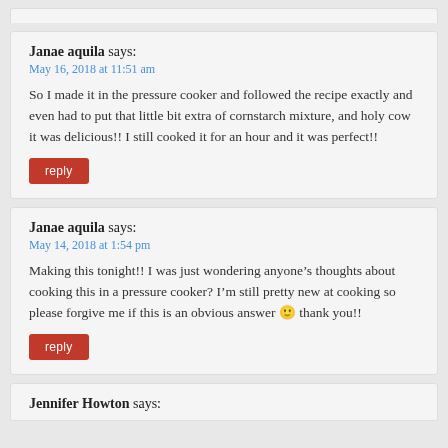Janae aquila says: May 16, 2018 at 11:51 am — So I made it in the pressure cooker and followed the recipe exactly and even had to put that little bit extra of cornstarch mixture, and holy cow it was delicious!! I still cooked it for an hour and it was perfect!!
reply
Janae aquila says: May 14, 2018 at 1:54 pm — Making this tonight!! I was just wondering anyone's thoughts about cooking this in a pressure cooker? I'm still pretty new at cooking so please forgive me if this is an obvious answer 🙂 thank you!!
reply
Jennifer Howton says: